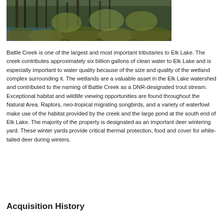[Figure (photo): Photograph of a forested wetland area with dense trees, shrubs, and vegetation along a water body, likely Battle Creek Natural Area.]
Battle Creek is one of the largest and most important tributaries to Elk Lake. The creek contributes approximately six billion gallons of clean water to Elk Lake and is especially important to water quality because of the size and quality of the wetland complex surrounding it. The wetlands are a valuable asset in the Elk Lake watershed and contributed to the naming of Battle Creek as a DNR-designated trout stream. Exceptional habitat and wildlife viewing opportunities are found throughout the Natural Area. Raptors, neo-tropical migrating songbirds, and a variety of waterfowl make use of the habitat provided by the creek and the large pond at the south end of Elk Lake. The majority of the property is designated as an important deer wintering yard. These winter yards provide critical thermal protection, food and cover for white-tailed deer during winters.
Acquisition History